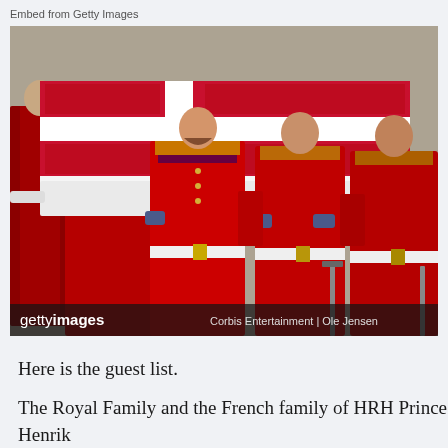Embed from Getty Images
[Figure (photo): Military guards in red ceremonial uniforms carrying a white coffin draped with the Danish flag (white cross on red background). The photo has a Getty Images watermark with credit to Corbis Entertainment | Ole Jensen.]
Here is the guest list.
The Royal Family and the French family of HRH Prince Henrik
Hendes Majestæt Dronningen